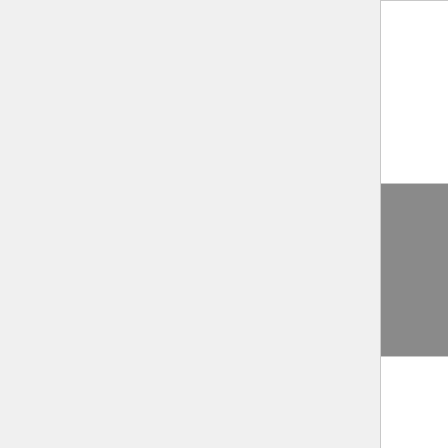| Name | ? | Date |
| --- | --- | --- |
|  |  |  |
| mrte.ch +/- | ? | 2016-0
29 |
| mysp-ac +/- | ? | 2015-0
04 |
| nig-gr +/- | ? | 2015-1
06 |
| nsfw-in +/- | ? | 2022-0
30 |